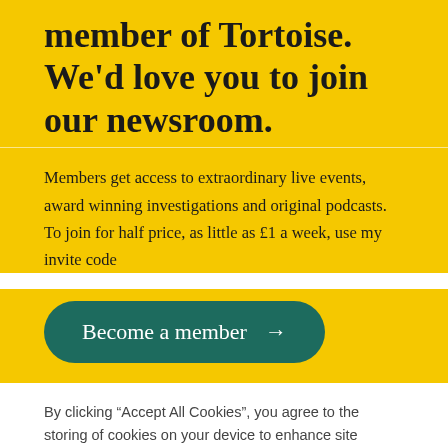member of Tortoise. We'd love you to join our newsroom.
Members get access to extraordinary live events, award winning investigations and original podcasts. To join for half price, as little as £1 a week, use my invite code
[Figure (other): Teal rounded button with text 'Become a member →']
By clicking "Accept All Cookies", you agree to the storing of cookies on your device to enhance site navigation, analyze site usage, and assist in our marketing efforts.
[Figure (other): Two buttons: 'Cookies Settings' (outlined) and 'Accept All Cookies' (filled teal)]